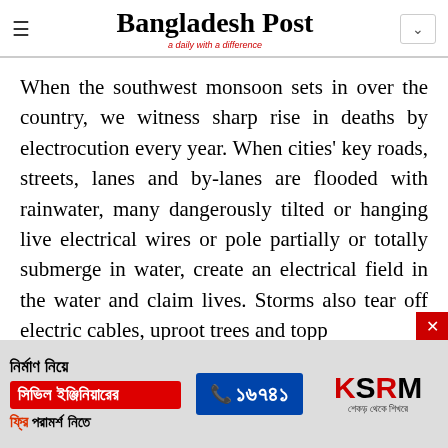Bangladesh Post — a daily with a difference
When the southwest monsoon sets in over the country, we witness sharp rise in deaths by electrocution every year. When cities' key roads, streets, lanes and by-lanes are flooded with rainwater, many dangerously tilted or hanging live electrical wires or pole partially or totally submerge in water, create an electrical field in the water and claim lives. Storms also tear off electric cables, uproot trees and topp
[Figure (advertisement): KSRM advertisement in Bengali with civil engineer consultation offer, phone number 16741, and KSRM logo]